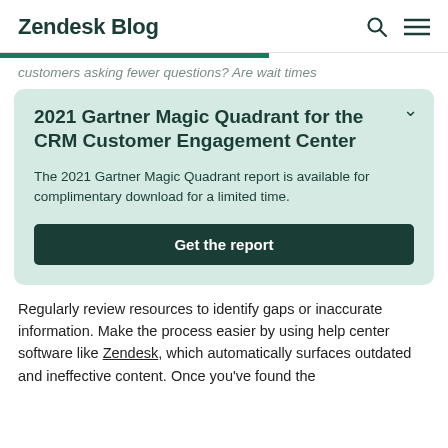Zendesk Blog
customers asking fewer questions? Are wait times
2021 Gartner Magic Quadrant for the CRM Customer Engagement Center
The 2021 Gartner Magic Quadrant report is available for complimentary download for a limited time.
Get the report
Regularly review resources to identify gaps or inaccurate information. Make the process easier by using help center software like Zendesk, which automatically surfaces outdated and ineffective content. Once you've found the